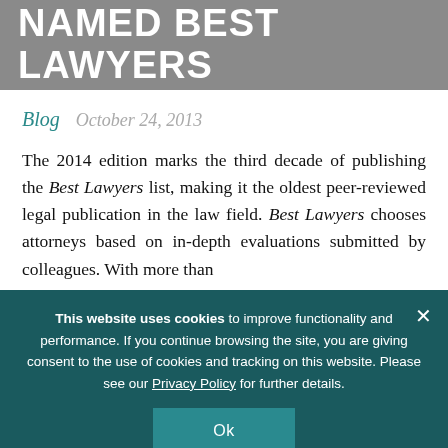NAMED BEST LAWYERS
Blog   October 24, 2013
The 2014 edition marks the third decade of publishing the Best Lawyers list, making it the oldest peer-reviewed legal publication in the law field. Best Lawyers chooses attorneys based on in-depth evaluations submitted by colleagues. With more than
This website uses cookies to improve functionality and performance. If you continue browsing the site, you are giving consent to the use of cookies and tracking on this website. Please see our Privacy Policy for further details.
Ok